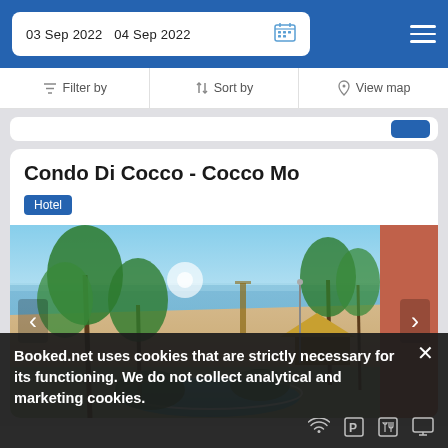03 Sep 2022  04 Sep 2022
Filter by  Sort by  View map
Condo Di Cocco - Cocco Mo
Hotel
[Figure (photo): Beach and pool view from hotel balcony, with palm trees, sandy beach, pier, and pool in foreground under blue sky.]
Booked.net uses cookies that are strictly necessary for its functioning. We do not collect analytical and marketing cookies.